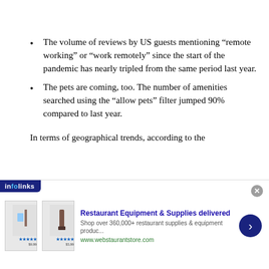The volume of reviews by US guests mentioning “remote working” or “work remotely” since the start of the pandemic has nearly tripled from the same period last year.
The pets are coming, too. The number of amenities searched using the “allow pets” filter jumped 90% compared to last year.
In terms of geographical trends, according to the